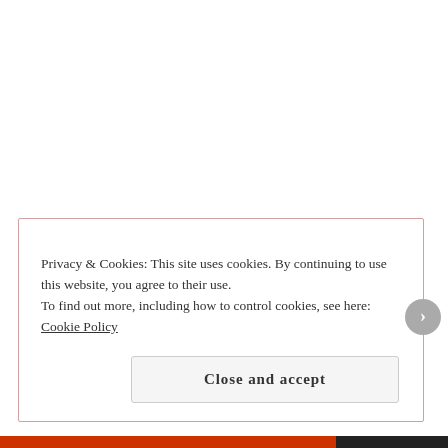Share this:
Facebook  Twitter  Email
Privacy & Cookies: This site uses cookies. By continuing to use this website, you agree to their use. To find out more, including how to control cookies, see here: Cookie Policy
Close and accept